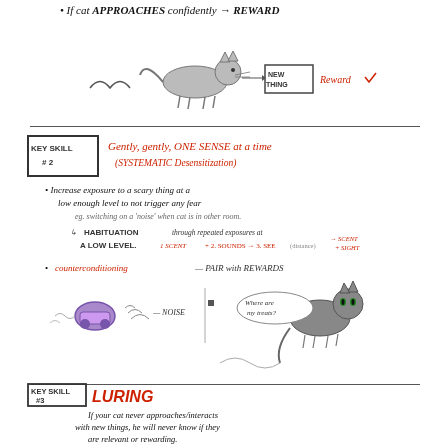If cat APPROACHES confidently → REWARD
[Figure (illustration): Hand-drawn cat walking toward a box labeled 'NEW THING' with 'Reward ✓' written next to it]
[Figure (illustration): KEY SKILL #2 section: Gently, gently, ONE SENSE at a time (SYSTEMATIC Desensitization). Bullet points about increasing exposure, habituation, counterconditioning. Illustrations of a rolling vacuum/object with sound waves and a cat saying 'Where are my treats?']
[Figure (illustration): KEY SKILL #3 LURING section: If your cat never approaches/interacts with new things, he will never know if they are relevant or rewarding. ENTICE your cat with.... showing churu, spoon, syringe, target stick illustrations with a cat]